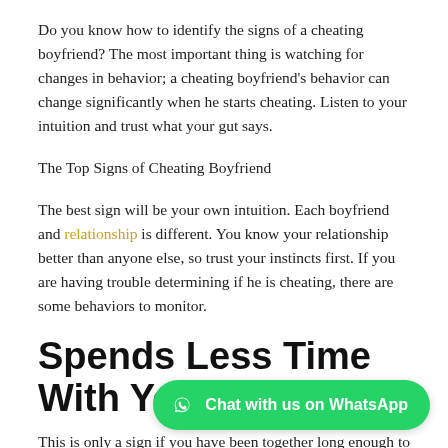Do you know how to identify the signs of a cheating boyfriend? The most important thing is watching for changes in behavior; a cheating boyfriend's behavior can change significantly when he starts cheating. Listen to your intuition and trust what your gut says.
The Top Signs of Cheating Boyfriend
The best sign will be your own intuition. Each boyfriend and relationship is different. You know your relationship better than anyone else, so trust your instincts first. If you are having trouble determining if he is cheating, there are some behaviors to monitor.
Spends Less Time With You
This is only a sign if you have been together long enough to notice a distinct change in time spent with each other